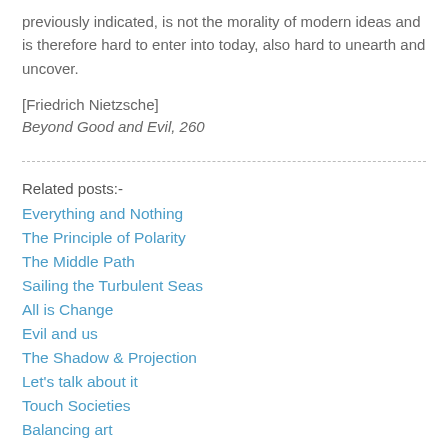previously indicated, is not the morality of modern ideas and is therefore hard to enter into today, also hard to unearth and uncover.
[Friedrich Nietzsche]
Beyond Good and Evil, 260
Related posts:-
Everything and Nothing
The Principle of Polarity
The Middle Path
Sailing the Turbulent Seas
All is Change
Evil and us
The Shadow & Projection
Let's talk about it
Touch Societies
Balancing art